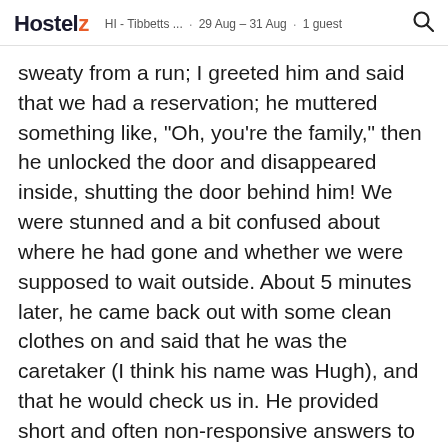Hostelz  HI - Tibbetts ...  ·  29 Aug - 31 Aug  ·  1 guest
sweaty from a run; I greeted him and said that we had a reservation; he muttered something like, "Oh, you're the family," then he unlocked the door and disappeared inside, shutting the door behind him! We were stunned and a bit confused about where he had gone and whether we were supposed to wait outside. About 5 minutes later, he came back out with some clean clothes on and said that he was the caretaker (I think his name was Hugh), and that he would check us in. He provided short and often non-responsive answers to our questions (it was very strange). For example, I asked if there was WiFi, and he answered slowly, "Yeah, but I'll have to give you the password." But he make no effort to give us the password! I had to finally say, "Ok, give us the password." He also indicated that the common area in the 2nd building was for guest use, so my husband asked if we could come and sit while we checked our